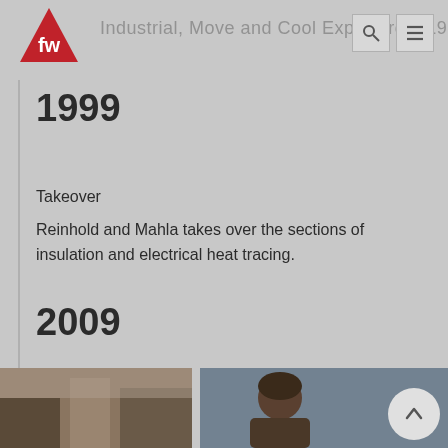FW logo and navigation header with search and menu icons
1999
Takeover
Reinhold and Mahla takes over the sections of insulation and electrical heat tracing.
2009
[Figure (photo): Two photos at the bottom: left shows an indoor/office scene with warm tones, right shows a person with curly brown hair in a blurred background scene.]